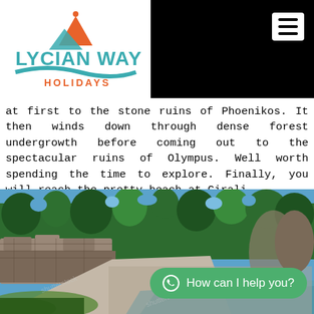[Figure (logo): Lycian Way Holidays logo with mountain and water wave graphic, teal and orange text]
at first to the stone ruins of Phoenikos. It then winds down through dense forest undergrowth before coming out to the spectacular ruins of Olympus. Well worth spending the time to explore. Finally, you will reach the pretty beach at Cirali.
[Figure (photo): Outdoor photo of ancient stone ruins surrounded by green trees under a blue sky, with a path and a small stream in the foreground, with a WhatsApp chat button overlay reading 'How can I help you?']